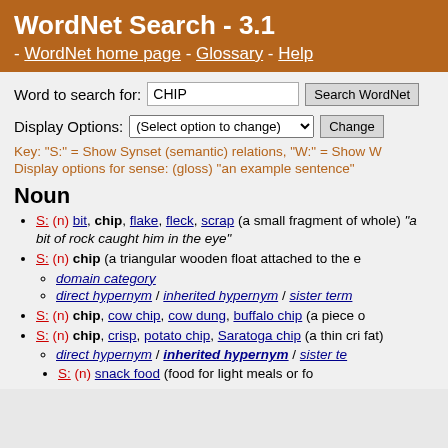WordNet Search - 3.1 - WordNet home page - Glossary - Help
Word to search for: CHIP [Search WordNet]
Display Options: (Select option to change) [Change]
Key: "S:" = Show Synset (semantic) relations, "W:" = Show W
Display options for sense: (gloss) "an example sentence"
Noun
S: (n) bit, chip, flake, fleck, scrap (a small fragment of whole) "a bit of rock caught him in the eye"
S: (n) chip (a triangular wooden float attached to the e
domain category
direct hypernym / inherited hypernym / sister term
S: (n) chip, cow chip, cow dung, buffalo chip (a piece o
S: (n) chip, crisp, potato chip, Saratoga chip (a thin cri fat)
direct hypernym / inherited hypernym / sister te
S: (n) snack food (food for light meals or fo